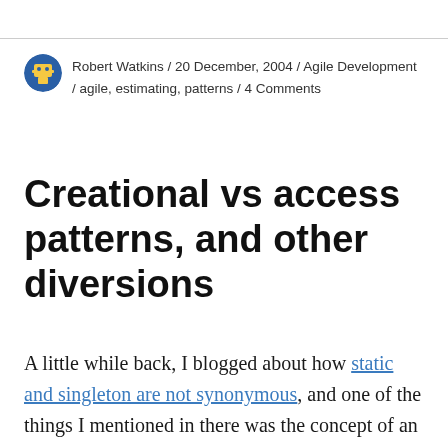Robert Watkins / 20 December, 2004 / Agile Development / agile, estimating, patterns / 4 Comments
Creational vs access patterns, and other diversions
A little while back, I blogged about how static and singleton are not synonymous, and one of the things I mentioned in there was the concept of an “access pattern”. This is a term I’ve been kicking around for a while (in person, anyway—I think that was the first time I’d